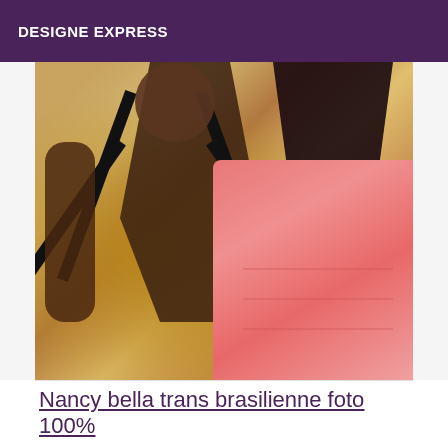DESIGNE EXPRESS
[Figure (photo): A person wearing a black strapped top and pink skirt/shorts, posed against a warm-toned patterned background.]
Nancy bella trans brasilienne foto 100%